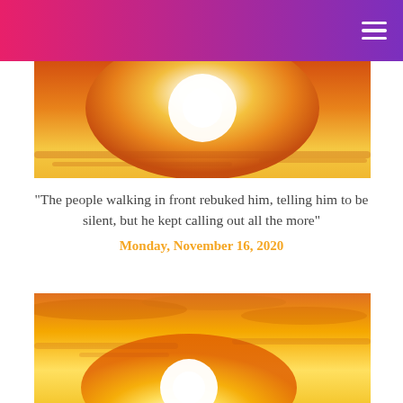[Figure (photo): Bright orange and yellow sunset or sunrise scene with glowing white sun in the upper part of a wide banner image]
"The people walking in front rebuked him, telling him to be silent, but he kept calling out all the more"
Monday, November 16, 2020
[Figure (photo): Vibrant golden sunset with glowing white sun low on the horizon, orange and yellow tones filling the sky with clouds]